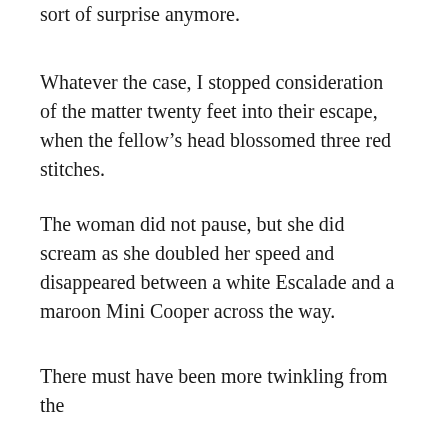ordinary human perspective to understand that sort of surprise anymore.
Whatever the case, I stopped consideration of the matter twenty feet into their escape, when the fellow’s head blossomed three red stitches.
The woman did not pause, but she did scream as she doubled her speed and disappeared between a white Escalade and a maroon Mini Cooper across the way.
There must have been more twinkling from the second floor rifleman, as the SUV’s rear window shattered, but the block settled into silence once the runner was safely in the shadows.
I was left to wait and consider.
It’s hard to know where my will to survive